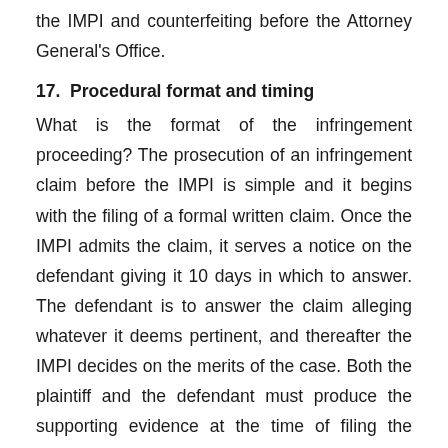the IMPI and counterfeiting before the Attorney General's Office.
17.  Procedural format and timing
What is the format of the infringement proceeding? The prosecution of an infringement claim before the IMPI is simple and it begins with the filing of a formal written claim. Once the IMPI admits the claim, it serves a notice on the defendant giving it 10 days in which to answer. The defendant is to answer the claim alleging whatever it deems pertinent, and thereafter the IMPI decides on the merits of the case. Both the plaintiff and the defendant must produce the supporting evidence at the time of filing the claim or answering it